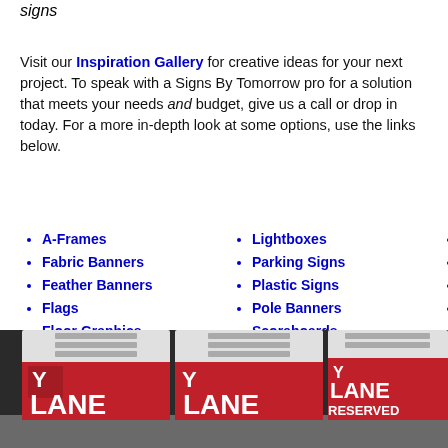signs
Visit our Inspiration Gallery for creative ideas for your next project. To speak with a Signs By Tomorrow pro for a solution that meets your needs and budget, give us a call or drop in today. For a more in-depth look at some options, use the links below.
A-Frames
Fabric Banners
Feather Banners
Flags
Floor Graphics
LED Displays
Lightboxes
Parking Signs
Plastic Signs
Pole Banners
Scoreboards
Tents & Pop-ups
Vehicle
Vinyl Ba
Wall Co
Wall Le
[Figure (photo): Three red YMCA A-frame signs reading LANE RESERVED displayed in an indoor setting]